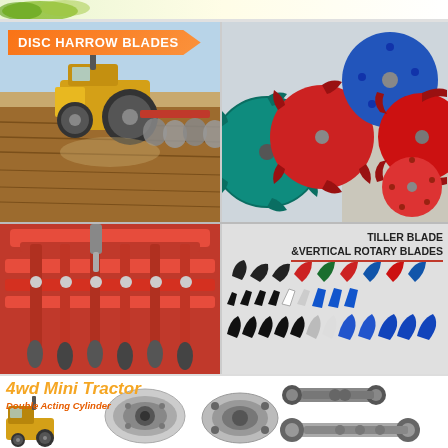DISC HARROW BLADES
[Figure (photo): Tractor pulling disc harrow in a field]
[Figure (photo): Disc harrow blades in various colors: blue, red, green, teal]
[Figure (photo): Red rotary tiller machine]
TILLER BLADE &VERTICAL ROTARY BLADES
[Figure (photo): Various tiller blades and vertical rotary blades in black, red, green, blue, and silver colors]
4wd Mini Tractor
Double Acting Cylinder
[Figure (photo): 4WD mini tractor and double acting cylinder components including axle assemblies]